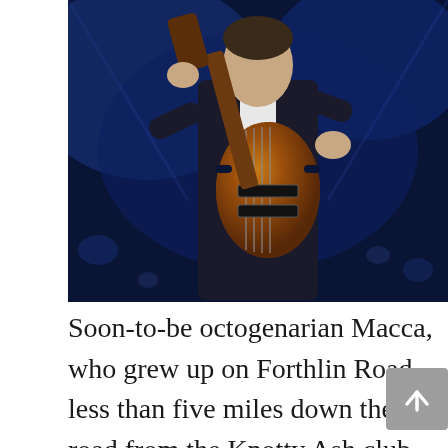[Figure (photo): A musician holding a Hofner violin bass guitar on stage, wearing a dark suit, with blue stage lighting in the background.]
Soon-to-be octogenarian Macca, who grew up on Forthlin Road, less than five miles down the road from the Knotty Ash club on East Prescot Road, is set to headline the iconic Pyramid Stage at Glastonbury on Saturday 25th June. With two landmark events a few days apart, Mecca just couldn't Let It Be and it was a Hard Day's Night to get the signage complete in time for Macca's birthday. So, for one week only, Liverpudlians will be able to witness the all-new